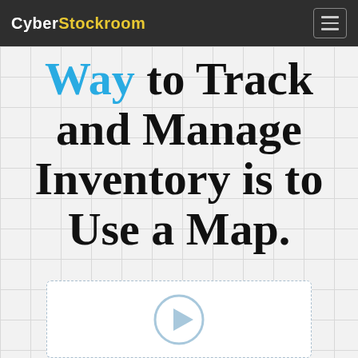CyberStockroom
Way to Track and Manage Inventory is to Use a Map.
[Figure (other): Video player placeholder with a light blue play button circle and triangle icon inside a dashed border box]